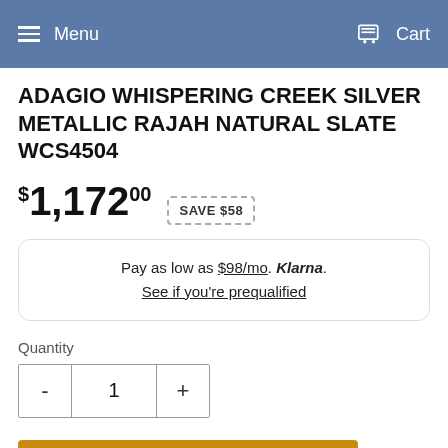Menu   Cart
ADAGIO WHISPERING CREEK SILVER METALLIC RAJAH NATURAL SLATE WCS4504
$1,172.00  SAVE $58
Pay as low as $98/mo. Klarna. See if you're prequalified
Quantity
- 1 +
ADD TO CART